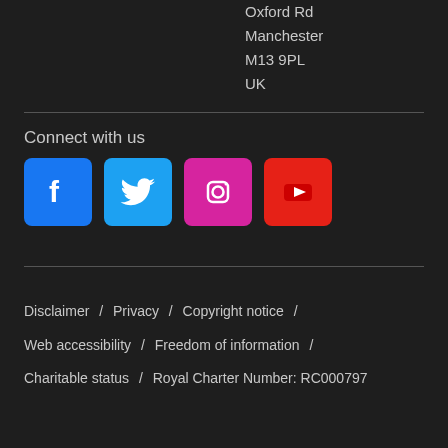Oxford Rd
Manchester
M13 9PL
UK
Connect with us
[Figure (other): Social media icons for Facebook, Twitter, Instagram, and YouTube]
Disclaimer / Privacy / Copyright notice / Web accessibility / Freedom of information / Charitable status / Royal Charter Number: RC000797